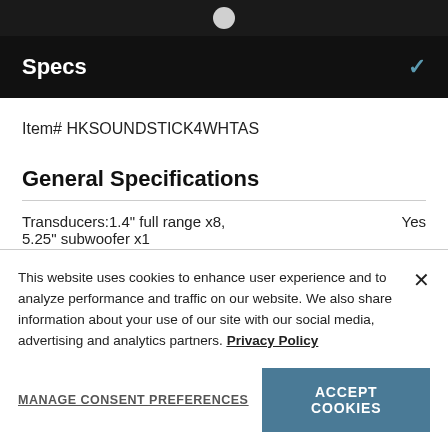Specs
Item# HKSOUNDSTICK4WHTAS
General Specifications
|  |  |
| --- | --- |
| Transducers:1.4" full range x8, 5.25" subwoofer x1 | Yes |
This website uses cookies to enhance user experience and to analyze performance and traffic on our website. We also share information about your use of our site with our social media, advertising and analytics partners. Privacy Policy
MANAGE CONSENT PREFERENCES
ACCEPT COOKIES